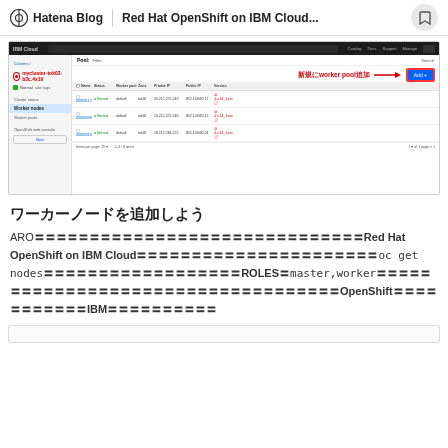Hatena Blog | Red Hat OpenShift on IBM Cloud...
[Figure (screenshot): IBM Cloud web console showing a Kubernetes cluster named 'mycluster-tok02-b3c.4x16' with Worker nodes tab selected. Three worker nodes shown with Normal status, default worker pool, tok02 zone, private/public IPs, and version info. An annotation in red Japanese text '新規にworker pool追加' with arrow pointing to blue Add button.]
ワーカーノードを追加しよう
AROでは〜〜〜〜〜〜〜〜〜〜〜〜〜〜〜〜〜〜〜〜〜〜〜〜〜〜〜〜〜〜〜Red Hat OpenShift on IBM Cloudでは〜〜〜〜〜〜〜〜〜〜〜〜〜〜〜〜〜〜〜〜〜〜〜oc get nodes〜〜〜〜〜〜〜〜〜〜〜〜〜〜〜〜〜〜ROLESがmaster,workerで〜〜〜〜〜〜〜〜〜〜〜〜〜〜〜〜〜〜〜〜〜〜〜〜〜〜〜〜〜〜〜OpenShiftで〜〜〜〜〜〜〜〜〜〜〜IBM〜〜〜〜〜〜〜〜〜〜